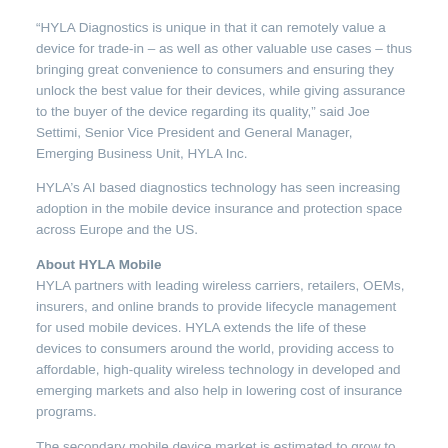“HYLA Diagnostics is unique in that it can remotely value a device for trade-in – as well as other valuable use cases – thus bringing great convenience to consumers and ensuring they unlock the best value for their devices, while giving assurance to the buyer of the device regarding its quality,” said Joe Settimi, Senior Vice President and General Manager, Emerging Business Unit, HYLA Inc.
HYLA’s AI based diagnostics technology has seen increasing adoption in the mobile device insurance and protection space across Europe and the US.
About HYLA Mobile
HYLA partners with leading wireless carriers, retailers, OEMs, insurers, and online brands to provide lifecycle management for used mobile devices. HYLA extends the life of these devices to consumers around the world, providing access to affordable, high-quality wireless technology in developed and emerging markets and also help in lowering cost of insurance programs.
The secondary mobile device market is estimated to grow to $38.9 billion in 2025, up from $19.7 billion in 2017, making it one of the fastest-growing segments in the mobile space. HYLA has completed more than